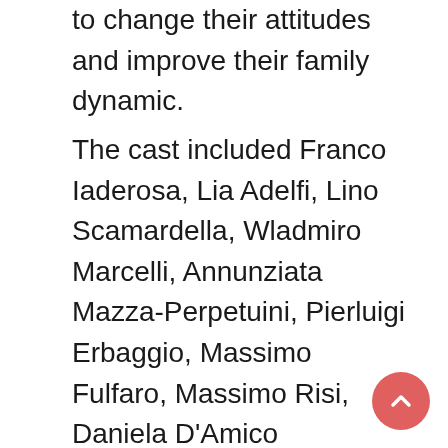to change their attitudes and improve their family dynamic.
The cast included Franco Iaderosa, Lia Adelfi, Lino Scamardella, Wladmiro Marcelli, Annunziata Mazza-Perpetuini, Pierluigi Erbaggio, Massimo Fulfaro, Massimo Risi, Daniela D'Amico Henderson, Anna Pedalino, Maria Giovanna Ferrigno, Giovanni Mastrangelo, Tonino Corsetti, Monica Buscaroli, Sara Corsetti, and Gerardo Alvino.   Michael Scamardella provided a musical interlude Lacrime napulitane (Neapolitan Tears).  Gianfranco Cataldo performed the audio/video duties, and Erika Caturegli was the makeup artist.